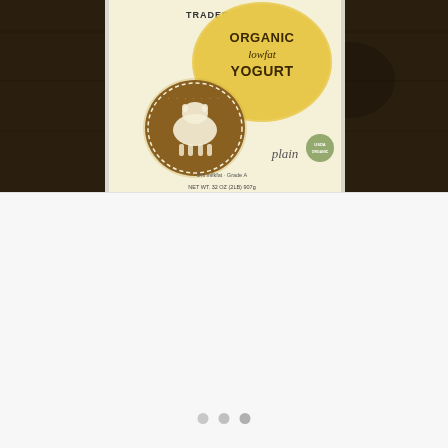[Figure (photo): Photo of a Trader Joe's Organic Lowfat Yogurt container (plain, 2% milkfat, Grade A) on a dark wooden surface. The container is white/cream colored with a yellow circular badge reading 'ORGANIC lowfat YOGURT' and a brown circular logo featuring a cow. The label reads 'plain' in italic script. Net weight 32 oz (2lb) 907g visible at bottom.]
[Figure (other): White/light gray nearly blank panel below the product photo, with three circular navigation dots (two light gray, one slightly darker) centered near the bottom of this panel.]